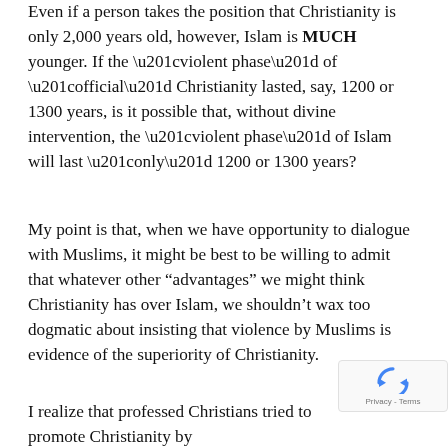Even if a person takes the position that Christianity is only 2,000 years old, however, Islam is MUCH younger. If the “violent phase” of “official” Christianity lasted, say, 1200 or 1300 years, is it possible that, without divine intervention, the “violent phase” of Islam will last “only” 1200 or 1300 years?
My point is that, when we have opportunity to dialogue with Muslims, it might be best to be willing to admit that whatever other “advantages” we might think Christianity has over Islam, we shouldn’t wax too dogmatic about insisting that violence by Muslims is evidence of the superiority of Christianity.
I realize that professed Christians tried to promote Christianity by
[Figure (other): reCAPTCHA badge with spinning arrows icon and 'Privacy - Terms' text]